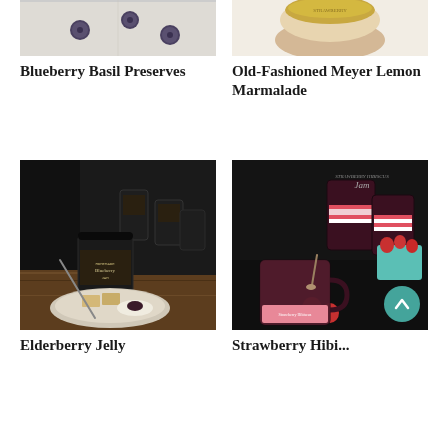[Figure (photo): Top portion of blueberry basil preserves photo - berries on light background]
[Figure (photo): Top portion of Old-Fashioned Meyer Lemon Marmalade photo - jar with gold lid on light background]
Blueberry Basil Preserves
Old-Fashioned Meyer Lemon Marmalade
[Figure (photo): Dark moody photo of Elderberry Jelly - jars with black labels and a jar open on a plate with crackers and preserves on wooden surface]
[Figure (photo): Dark moody photo of Strawberry Hibiscus Jam - multiple jars with pink striped labels, fresh strawberries, and a teal berry container]
Elderberry Jelly
Strawberry Hibi...